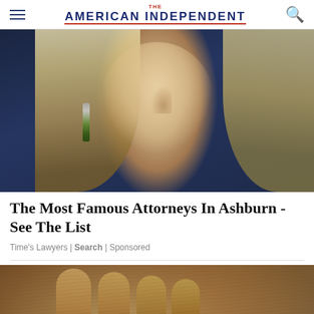The American Independent
[Figure (photo): Close-up portrait of a blonde woman with blue-green eyes wearing dangling earrings against a dark blue background]
The Most Famous Attorneys In Ashburn - See The List
Time's Lawyers | Search | Sponsored
[Figure (photo): Close-up of hands gripping animal fur, partially visible at bottom of page]